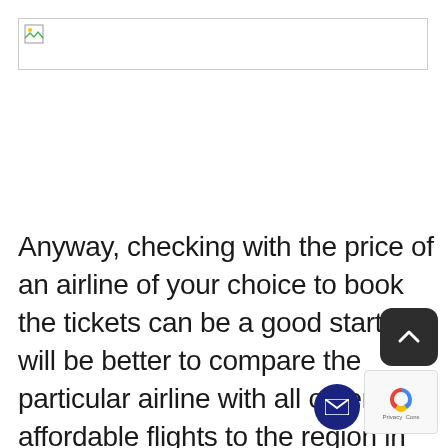[Figure (photo): Broken image placeholder with border at top of page]
Anyway, checking with the price of an airline of your choice to book the tickets can be a good start. It will be better to compare the particular airline with all other affordable flights to the region in order to make a well-informed decision. Moreover, calling beforehand before booking an airline or accommodation will help you to avoid facing any hidden charges that can prove costly for your